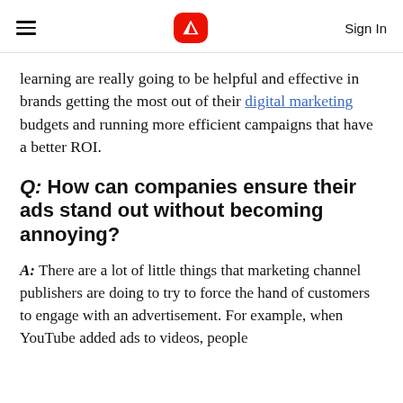≡  [Adobe logo]  Sign In
learning are really going to be helpful and effective in brands getting the most out of their digital marketing budgets and running more efficient campaigns that have a better ROI.
Q: How can companies ensure their ads stand out without becoming annoying?
A: There are a lot of little things that marketing channel publishers are doing to try to force the hand of customers to engage with an advertisement. For example, when YouTube added ads to videos, people